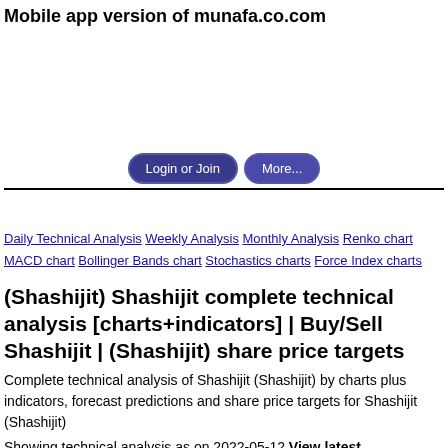Mobile app version of munafa.co.com
[Figure (other): Advertisement area (blank white space)]
Login or Join  More...
Daily Technical Analysis  Weekly Analysis  Monthly Analysis  Renko chart  MACD chart  Bollinger Bands chart  Stochastics charts  Force Index charts
(Shashijit) Shashijit complete technical analysis [charts+indicators] | Buy/Sell Shashijit | (Shashijit) share price targets
Complete technical analysis of Shashijit (Shashijit) by charts plus indicators, forecast predictions and share price targets for Shashijit (Shashijit)
Showing technical analysis as on 2022-05-12 View latest